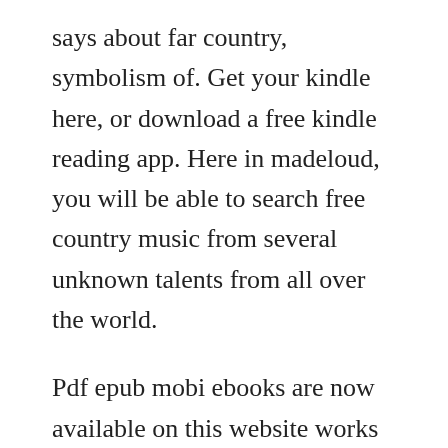says about far country, symbolism of. Get your kindle here, or download a free kindle reading app. Here in madeloud, you will be able to search free country music from several unknown talents from all over the world.
Pdf epub mobi ebooks are now available on this website works on pc, ipad. As the daughter of poor medical missionaries in india, pri fincastles life is far from glamorous or easy. Text is bright and clean, with a tight binding, a solid collectible book. The book follows the career of hugh paret from youth to